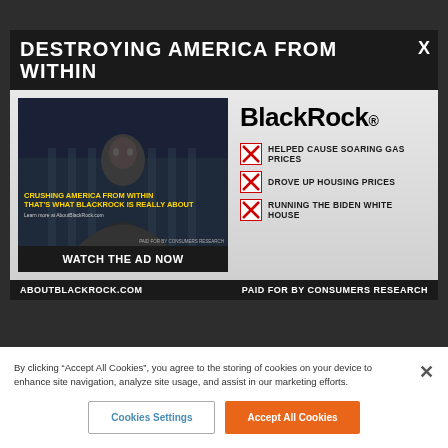DESTROYING AMERICA FROM WITHIN
[Figure (screenshot): BlackRock political advertisement with video thumbnail showing a person in front of a government building, text overlay reading 'CRUSHING AMERICA FROM WITHIN THAT'S WHAT BLACKROCK IS REALLY ABOUT', and 'WATCH THE AD NOW' button. Right side shows BlackRock logo with three red X checkboxes listing: HELPED CAUSE SOARING GAS PRICES, DROVE UP HOUSING PRICES, RUNNING THE BIDEN WHITE HOUSE.]
ABOUTBLACKROCK.COM
PAID FOR BY CONSUMERS RESEARCH
By clicking "Accept All Cookies", you agree to the storing of cookies on your device to enhance site navigation, analyze site usage, and assist in our marketing efforts.
Cookies Settings
Accept All Cookies